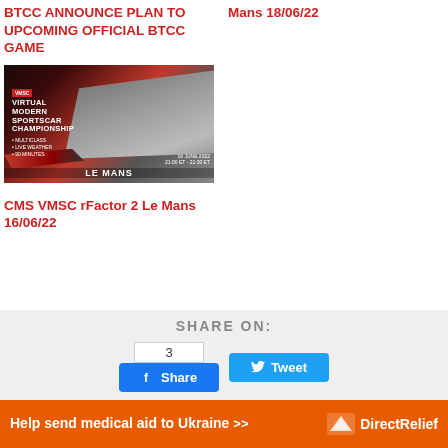BTCC ANNOUNCE PLAN TO UPCOMING OFFICIAL BTCC GAME
Mans 18/06/22
[Figure (photo): Virtual Modern Sportscar Championship rFactor 2 Le Mans event promotional image showing racing cars on track, dated 16 June 2022, Le Mans]
CMS VMSC rFactor 2 Le Mans 16/06/22
SHARE ON:
3
Share
Tweet
Help send medical aid to Ukraine >> DirectRelief